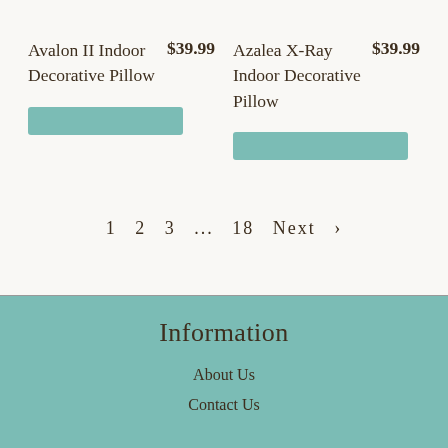Avalon II Indoor Decorative Pillow  $39.99
Azalea X-Ray Indoor Decorative Pillow  $39.99
1  2  3  ...  18  Next  >
Information
About Us
Contact Us